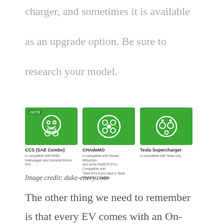charger, and sometimes it is available
as an upgrade option. Be sure to
research your model.
[Figure (infographic): Three green cards showing EV charging connector types: CCS (SAE Combo) compatible with BMW, Volkswagen and General Motors EVs; CHAdeMO compatible with Nissan, Mitsubishi and some Kia/BYD EVs, compatible with Tesla EVs if you have a Tesla CHAdeMO adapter; Tesla Supercharger compatible with Tesla only.]
Image credit: duke-enery.com
The other thing we need to remember
is that every EV comes with an On-